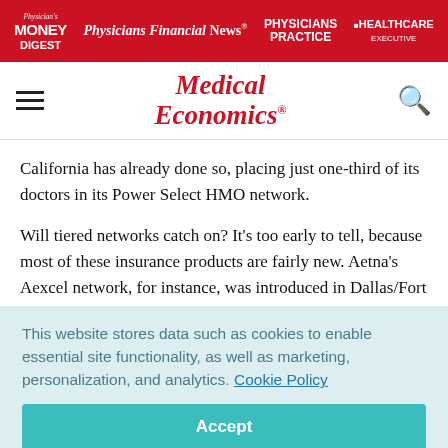Physician's Money Digest | Physicians Financial News | Physicians Practice | Healthcare Executive
[Figure (logo): Medical Economics logo in red serif font with hamburger menu and search icon]
California has already done so, placing just one-third of its doctors in its Power Select HMO network.
Will tiered networks catch on? It's too early to tell, because most of these insurance products are fairly new. Aetna's Aexcel network, for instance, was introduced in Dallas/Fort
This website stores data such as cookies to enable essential site functionality, as well as marketing, personalization, and analytics. Cookie Policy
Accept
Deny